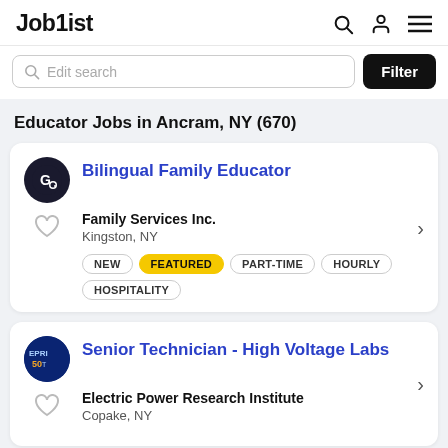Joblist
Edit search
Filter
Educator Jobs in Ancram, NY (670)
Bilingual Family Educator — Family Services Inc. — Kingston, NY — NEW, FEATURED, PART-TIME, HOURLY, HOSPITALITY
Senior Technician - High Voltage Labs — Electric Power Research Institute — Copake, NY